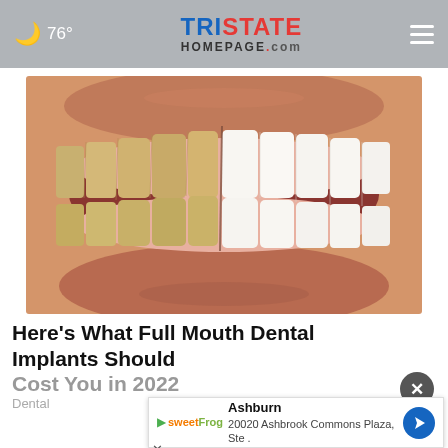🌙 76° | TRISTATE HOMEPAGE.com
[Figure (photo): Close-up photo of a person's smile showing a before-and-after comparison of teeth: left side shows yellowed/natural teeth, right side shows bright white dental implants/veneers]
Here's What Full Mouth Dental Implants Should Cost You in 2022
Dental
[Figure (infographic): Ad banner showing sweetFrog logo with Ashburn location: 20020 Ashbrook Commons Plaza, Ste. with navigation arrow icon, and X close button]